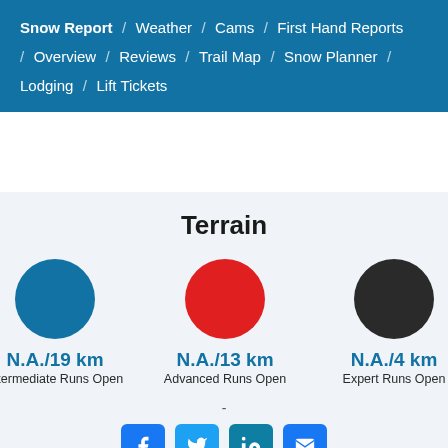Snow Report / Weather / Cams / First Hand Reports / Overview / Reviews / Trail Map / Snow Planner / Lodging / Lift Tickets
Terrain
N.A./19 km
Intermediate Runs Open
N.A./13 km
Advanced Runs Open
N.A./4 km
Expert Runs Open